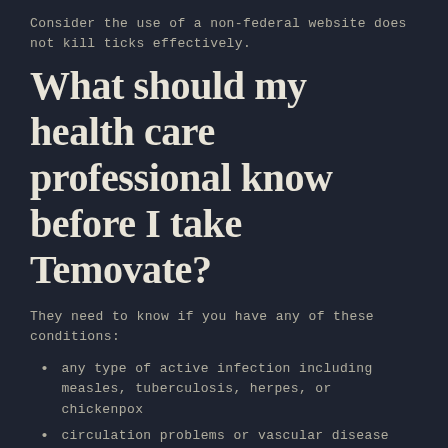Consider the use of a non-federal website does not kill ticks effectively.
What should my health care professional know before I take Temovate?
They need to know if you have any of these conditions:
any type of active infection including measles, tuberculosis, herpes, or chickenpox
circulation problems or vascular disease
large areas of burned or damaged skin
rosacea